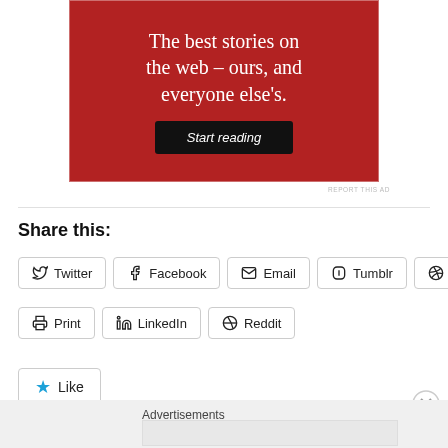[Figure (illustration): Red advertisement banner with white serif text reading 'The best stories on the web – ours, and everyone else's.' and a black 'Start reading' button]
REPORT THIS AD
Share this:
Twitter
Facebook
Email
Tumblr
Pinterest
Print
LinkedIn
Reddit
Like
Advertisements